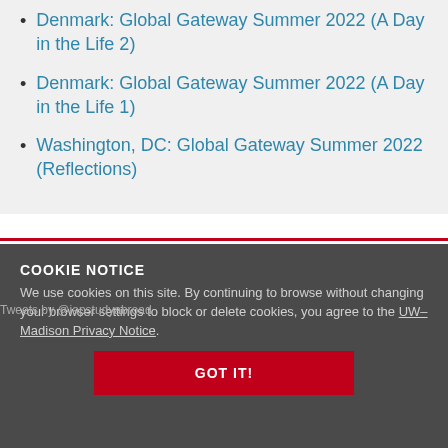Denmark: Global Gateway Summer 2022 (A Day in the Life 2)
Denmark: Global Gateway Summer 2022 (A Day in the Life 1)
Washington, DC: Global Gateway Summer 2022 (Reflections)
COOKIE NOTICE
We use cookies on this site. By continuing to browse without changing your browser settings to block or delete cookies, you agree to the UW–Madison Privacy Notice.
GOT IT!